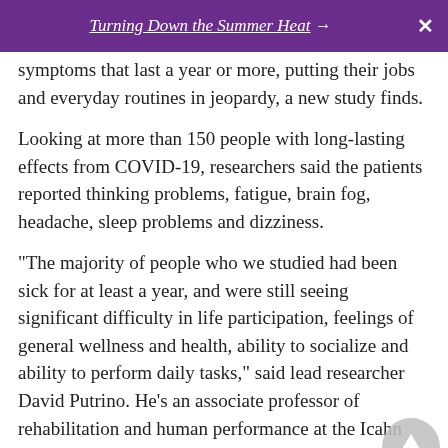Turning Down the Summer Heat →  ✕
symptoms that last a year or more, putting their jobs and everyday routines in jeopardy, a new study finds.
Looking at more than 150 people with long-lasting effects from COVID-19, researchers said the patients reported thinking problems, fatigue, brain fog, headache, sleep problems and dizziness.
"The majority of people who we studied had been sick for at least a year, and were still seeing significant difficulty in life participation, feelings of general wellness and health, ability to socialize and ability to perform daily tasks," said lead researcher David Putrino. He's an associate professor of rehabilitation and human performance at the Icahn School of Medicine at Mount Sinai in New York City.
The cause of long COVID isn't clear, Putrino said. It's